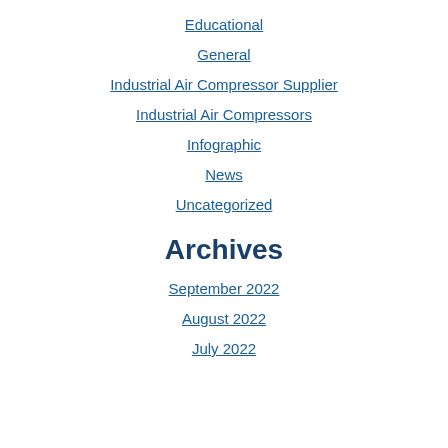Educational
General
Industrial Air Compressor Supplier
Industrial Air Compressors
Infographic
News
Uncategorized
Archives
September 2022
August 2022
July 2022